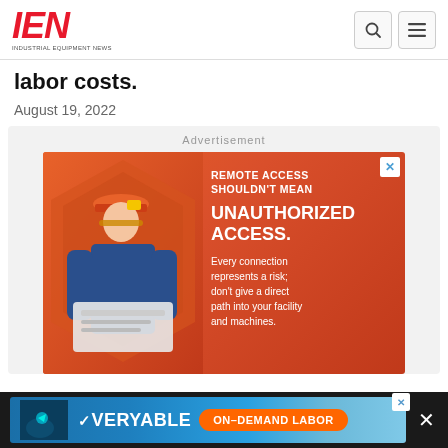IEN - Industrial Equipment News
labor costs.
August 19, 2022
Advertisement
[Figure (infographic): Advertisement for remote access security solution showing a worker in safety gear with red hexagonal overlay shapes. Text reads: REMOTE ACCESS SHOULDN'T MEAN UNAUTHORIZED ACCESS. Every connection represents a risk; don't give a direct path into your facility and machines.]
[Figure (infographic): Bottom banner advertisement for Veryable On-Demand Labor with blue gradient background, welding image on left, Veryable logo, and orange ON-DEMAND LABOR button.]